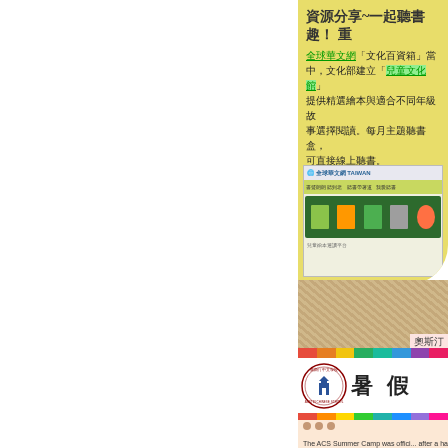[Figure (screenshot): Yellow background resource sharing section with Chinese text about 全球華文網 (Global Chinese Network) cultural resources and children's library, with a screenshot of a website showing books]
資源分享~一起聽書趣！
全球華文網「文化百資箱」當中，文化部建立「兒童文化館」提供精選繪本與適合不同年級故事選擇閱讀。每月主題聽書盒，可直接線上聽書。
[Figure (screenshot): Screenshot of a Taiwanese educational website showing children's book resources with green header and book covers]
奥斯汀
[Figure (illustration): School logo/crest for ACS (Austin Chinese School) with a building illustration and Chinese text around a circular border, with 暑假 (Summer Vacation) text beside it]
暑假
[Figure (illustration): Colorful horizontal strip with multiple colors indicating a new section]
Principal's Message
The ACS Summer Camp was officially after a half month intensively planned by ACS team. Our teachers are dedicated to delivery each wonderful class! Thi...